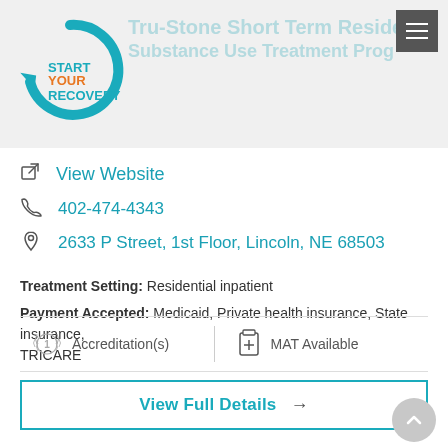[Figure (logo): Start Your Recovery logo with circular arrow icon in teal and text 'START YOUR RECOVERY' in teal/orange]
Tru-Stone Short Term Residential Substance Use Treatment Program
View Website
402-474-4343
2633 P Street, 1st Floor, Lincoln, NE 68503
Treatment Setting: Residential inpatient
Payment Accepted: Medicaid, Private health insurance, State insurance, TRICARE
Accreditation(s)
MAT Available
View Full Details →